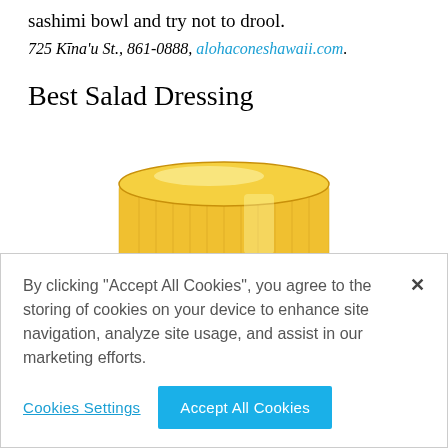sashimi bowl and try not to drool.
725 Kīna'u St., 861-0888, alohaconeshawaii.com.
Best Salad Dressing
[Figure (photo): Yellow round jar/container of salad dressing, viewed from above at slight angle, with ribbed sides and shiny lid]
By clicking "Accept All Cookies", you agree to the storing of cookies on your device to enhance site navigation, analyze site usage, and assist in our marketing efforts.
Cookies Settings
Accept All Cookies